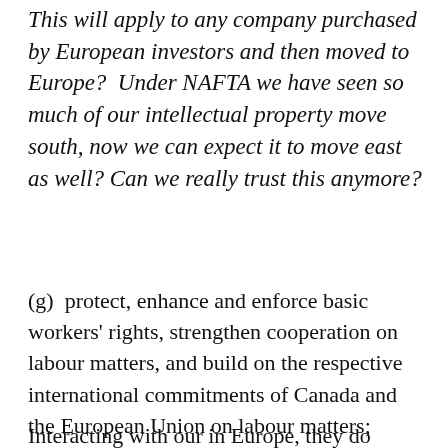This will apply to any company purchased by European investors and then moved to Europe?  Under NAFTA we have seen so much of our intellectual property move south, now we can expect it to move east as well? Can we really trust this anymore?
(g)  protect, enhance and enforce basic workers' rights, strengthen cooperation on labour matters, and build on the respective international commitments of Canada and the European Union on labour matters;
Interacting with our in Europe, they do